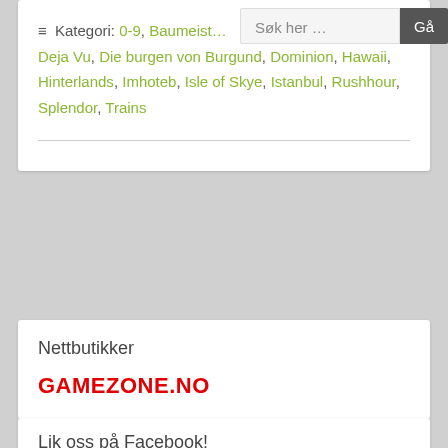≡ Kategori: 0-9, Baumeister, Deja Vu, Die burgen von Burgund, Dominion, Hawaii, Hinterlands, Imhoteb, Isle of Skye, Istanbul, Rushhour, Splendor, Trains
Nettbutikker
[Figure (logo): GAMEZONE.NO logo in bold red uppercase text]
Lik oss på Facebook!